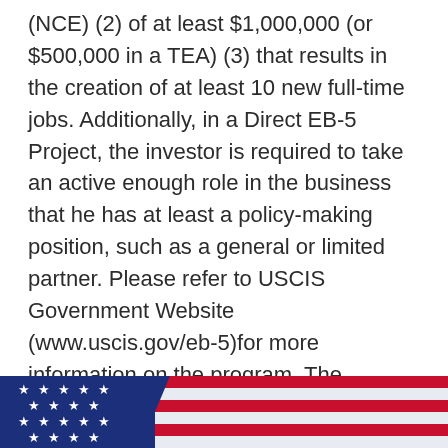(NCE) (2) of at least $1,000,000 (or $500,000 in a TEA) (3) that results in the creation of at least 10 new full-time jobs. Additionally, in a Direct EB-5 Project, the investor is required to take an active enough role in the business that he has at least a policy-making position, such as a general or limited partner. Please refer to USCIS Government Website (www.uscis.gov/eb-5)for more information on the program. The purpose of the EB-5 program is to stimulate the U.S. economy through job creation and capital investment by offering immigrant investors the benefits of permanent residency in the United States.
[Figure (photo): Partial view of an American flag with stars and red/blue stripes, used as a decorative footer banner.]